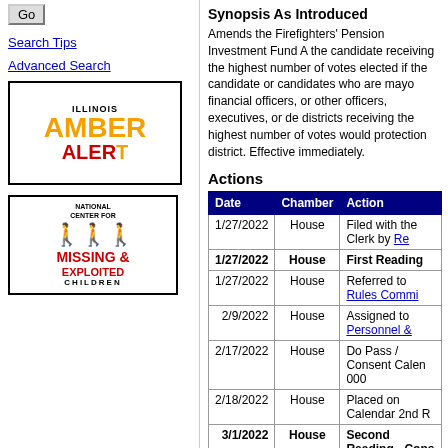Go
Search Tips
Advanced Search
[Figure (logo): Illinois Amber Alert logo with orange text on white background with red ALERT text]
[Figure (logo): National Center for Missing & Exploited Children logo with stick figures]
Synopsis As Introduced
Amends the Firefighters' Pension Investment Fund A the candidate receiving the highest number of votes elected if the candidate or candidates who are mayo financial officers, or other officers, executives, or de districts receiving the highest number of votes would protection district. Effective immediately.
Actions
| Date | Chamber | Action |
| --- | --- | --- |
| 1/27/2022 | House | Filed with the Clerk by Re |
| 1/27/2022 | House | First Reading |
| 1/27/2022 | House | Referred to Rules Commi |
| 2/9/2022 | House | Assigned to Personnel & |
| 2/17/2022 | House | Do Pass / Consent Calen 000 |
| 2/18/2022 | House | Placed on Calendar 2nd R |
| 3/1/2022 | House | Second Reading - Cons |
| 3/1/2022 | House | Held on Calendar Order o |
| 3/2/2022 | House | Removed from Consent C |
| 3/2/2022 | House | Held on Calendar Order o |
| 3/3/2022 | House | Placed on Calendar Orde |
| 3/3/2022 | House | Third Reading - Short D |